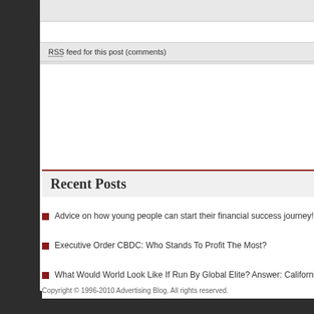RSS feed for this post (comments)
Recent Posts
Archives
Advice on how young people can start their financial success journey!
Executive Order CBDC: Who Stands To Profit The Most?
What Would World Look Like If Run By Global Elite? Answer: California
The CRAZIEST thing I've EVER DONE #shorts
What does the Inflation Reduction Act mean for you?
September 2022
August 2022
July 2022
June 2022
May 2022
Copyright © 1996-2010 Advertising Blog. All rights reserved.